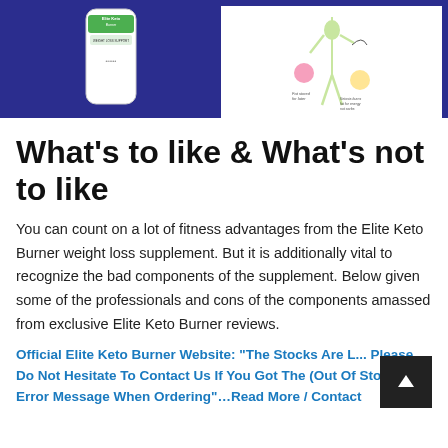[Figure (photo): Two-panel banner image on dark blue background. Left panel shows a white supplement bottle labeled 'Elite Keto Burner Weight Loss Support'. Right panel shows an illustration of a slim female figure with food items and text 'Fat stored for later' and 'Ketosis burns fat for energy not carbs'.]
What's to like & What's not to like
You can count on a lot of fitness advantages from the Elite Keto Burner weight loss supplement. But it is additionally vital to recognize the bad components of the supplement. Below given some of the professionals and cons of the components amassed from exclusive Elite Keto Burner reviews.
Official Elite Keto Burner Website: “The Stocks Are L... Please Do Not Hesitate To Contact Us If You Got The (Out Of Stock) Error Message When Ordering”…Read More / Contact